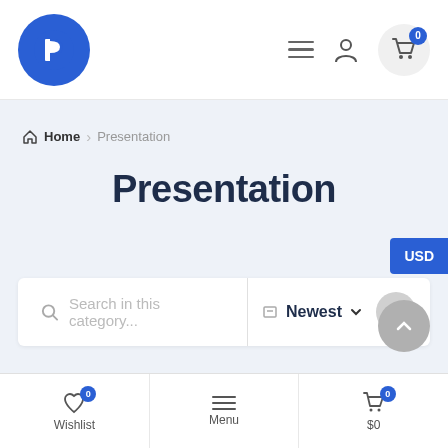[Figure (screenshot): E-commerce website header with blue circle logo (P), hamburger menu, user icon, and shopping cart with badge showing 0]
Home > Presentation
Presentation
USD
Search in this category...
Newest
[Figure (other): View toggle buttons: grid view and list view (active)]
Wishlist 0
Menu
$0